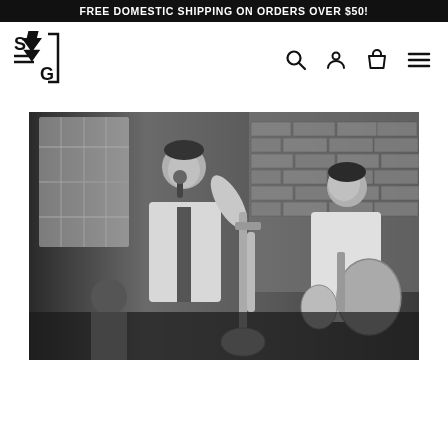FREE DOMESTIC SHIPPING ON ORDERS OVER $50!
[Figure (logo): SG brand logo with tree icon]
[Figure (photo): Black and white photo of a band performing live: a male singer at the microphone on the left, a trombone player in the center, and a guitarist on the right, in a brick-walled venue.]